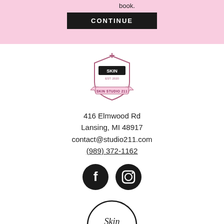book.
CONTINUE
[Figure (logo): Skin Studio 211 shield logo in pink and dark tones with text SKIN EST. 2020 SKIN STUDIO 211]
416 Elmwood Rd
Lansing, MI 48917
contact@studio211.com
(989) 372-1162
[Figure (logo): Facebook and Instagram social media icons as black filled circles]
[Figure (logo): Skin Studio 226 circular logo with black outline circle, cursive Skin text and studio 226]
226 Westbury Ave